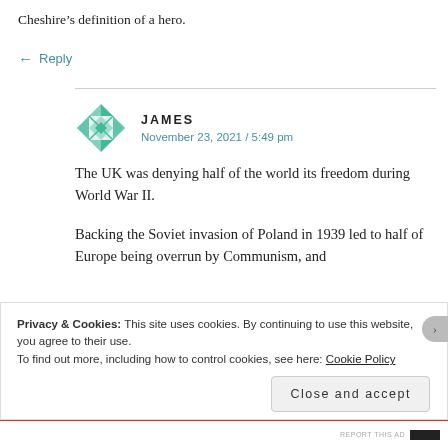Cheshire’s definition of a hero.
← Reply
JAMES
November 23, 2021 / 5:49 pm
The UK was denying half of the world its freedom during World War II.
Backing the Soviet invasion of Poland in 1939 led to half of Europe being overrun by Communism, and
Privacy & Cookies: This site uses cookies. By continuing to use this website, you agree to their use.
To find out more, including how to control cookies, see here: Cookie Policy
Close and accept